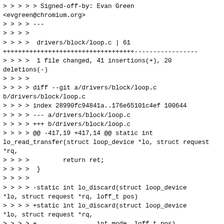> > > > > Signed-off-by: Evan Green
<evgreen@chromium.org>
> > > > ---
> > > >
> > > >  drivers/block/loop.c | 61
+++++++++++++++++++++++++++++++++++-----------------
> > > >  1 file changed, 41 insertions(+), 20
deletions(-)
> > > >
> > > > diff --git a/drivers/block/loop.c
b/drivers/block/loop.c
> > > > index 28990fc94841a..176e65101c4ef 100644
> > > > --- a/drivers/block/loop.c
> > > > +++ b/drivers/block/loop.c
> > > > @@ -417,19 +417,14 @@ static int
lo_read_transfer(struct loop_device *lo, struct request
*rq,
> > > >          return ret;
> > > >  }
> > > >
> > > > -static int lo_discard(struct loop_device
*lo, struct request *rq, loff_t pos)
> > > > +static int lo_discard(struct loop_device
*lo, struct request *rq,
> > > > +                int mode, loff_t pos)
> > > >  {
> > > > -    /*
> > > > -     * We use punch hole to reclaim the
free space used by the
> > > > -     * image a.k.a. discard. However we do
not support discard if